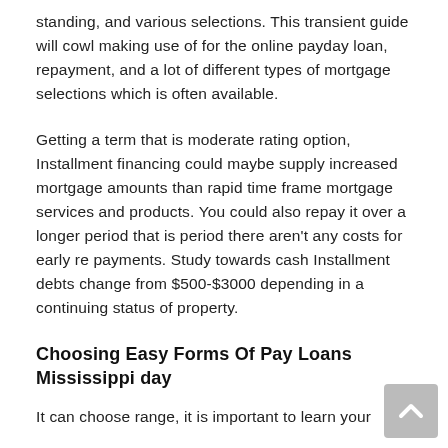standing, and various selections. This transient guide will cowl making use of for the online payday loan, repayment, and a lot of different types of mortgage selections which is often available.
Getting a term that is moderate rating option, Installment financing could maybe supply increased mortgage amounts than rapid time frame mortgage services and products. You could also repay it over a longer period that is period there aren't any costs for early re payments. Study towards cash Installment debts change from $500-$3000 depending in a continuing status of property.
Choosing Easy Forms Of Pay Loans Mississippi day
It can choose range, it is important to learn your